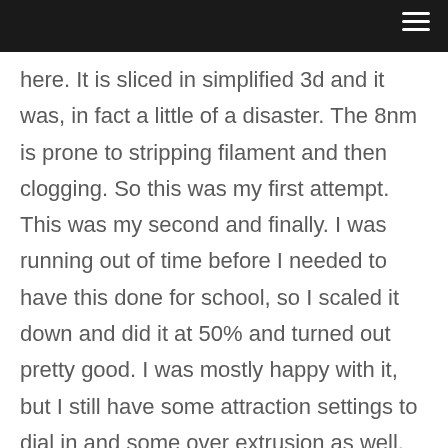here. It is sliced in simplified 3d and it was, in fact a little of a disaster. The 8nm is prone to stripping filament and then clogging. So this was my first attempt. This was my second and finally. I was running out of time before I needed to have this done for school, so I scaled it down and did it at 50% and turned out pretty good. I was mostly happy with it, but I still have some attraction settings to dial in and some over extrusion as well. So instead I turned to my Tebow.